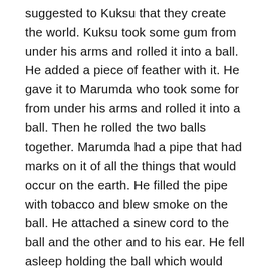suggested to Kuksu that they create the world. Kuksu took some gum from under his arms and rolled it into a ball. He added a piece of feather with it. He gave it to Marumda who took some for from under his arms and rolled it into a ball. Then he rolled the two balls together. Marumda had a pipe that had marks on it of all the things that would occur on the earth. He filled the pipe with tobacco and blew smoke on the ball. He attached a sinew cord to the ball and the other and to his ear. He fell asleep holding the ball which would jerk. The jerking and sleeping continued for eight days. On the eighth day the ball grew heavy and slipped from his hand, pulling him along with it. It was the earth. Marumda checked to see if the water and mountains were placed as they were on the pipe. The land was empty. He said to Kuksu that they should make things to occupy the earth. He made the animals before people. He and Kuksu looked around and then he said